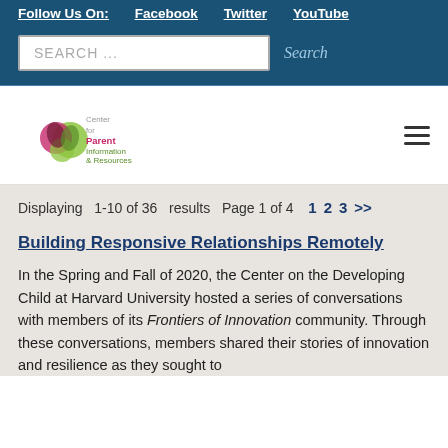Follow Us On:  Facebook  Twitter  YouTube
SEARCH ...
[Figure (logo): Center for Parent Information & Resources logo with hands imagery]
Displaying 1-10 of 36 results Page 1 of 4  1  2  3  >>
Building Responsive Relationships Remotely
In the Spring and Fall of 2020, the Center on the Developing Child at Harvard University hosted a series of conversations with members of its Frontiers of Innovation community. Through these conversations, members shared their stories of innovation and resilience as they sought to